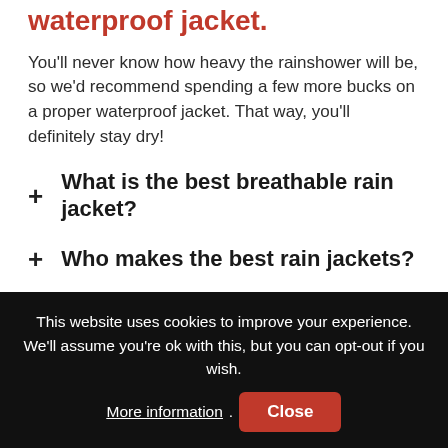waterproof jacket.
You'll never know how heavy the rainshower will be, so we'd recommend spending a few more bucks on a proper waterproof jacket. That way, you'll definitely stay dry!
+ What is the best breathable rain jacket?
+ Who makes the best rain jackets?
+ Are there any good budget rain jackets?
This website uses cookies to improve your experience. We'll assume you're ok with this, but you can opt-out if you wish. More information. Close